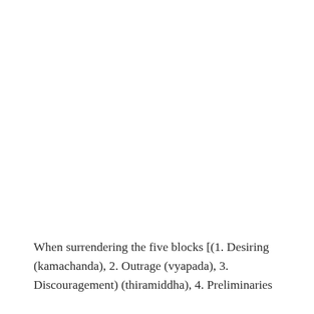When surrendering the five blocks [(1. Desiring (kamachanda), 2. Outrage (vyapada), 3. Discouragement) (thiramiddha), 4. Preliminaries